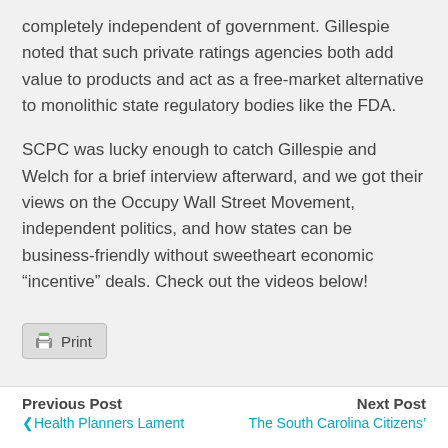completely independent of government. Gillespie noted that such private ratings agencies both add value to products and act as a free-market alternative to monolithic state regulatory bodies like the FDA.
SCPC was lucky enough to catch Gillespie and Welch for a brief interview afterward, and we got their views on the Occupy Wall Street Movement, independent politics, and how states can be business-friendly without sweetheart economic “incentive” deals. Check out the videos below!
[Figure (other): Print button with printer icon]
Previous Post | Health Planners Lament    Next Post | The South Carolina Citizens'